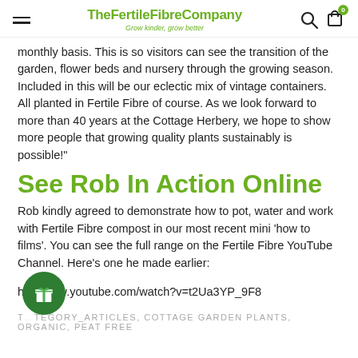TheFertileFibreCompany – Grow kinder, grow better
monthly basis. This is so visitors can see the transition of the garden, flower beds and nursery through the growing season. Included in this will be our eclectic mix of vintage containers. All planted in Fertile Fibre of course. As we look forward to more than 40 years at the Cottage Herbery, we hope to show more people that growing quality plants sustainably is possible!"
See Rob In Action Online
Rob kindly agreed to demonstrate how to pot, water and work with Fertile Fibre compost in our most recent mini 'how to films'. You can see the full range on the Fertile Fibre YouTube Channel. Here's one he made earlier:
ht[…]ww.youtube.com/watch?v=t2Ua3YP_9F8
T[…]TEGORY_ARTICLES, COTTAGE GARDEN PLANTS, ORGANIC, PEAT FREE